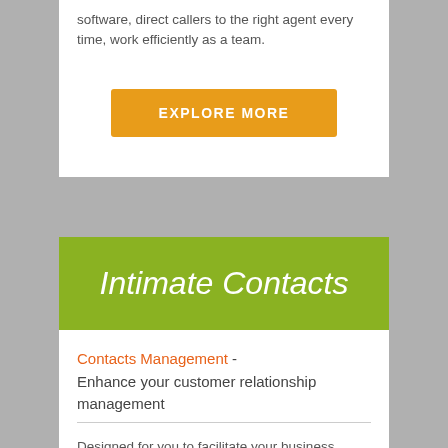software, direct callers to the right agent every time, work efficiently as a team.
EXPLORE MORE
Intimate Contacts
Contacts Management - Enhance your customer relationship management
Designed for you to facilitate your business communication with accounts, which enables you to engage your